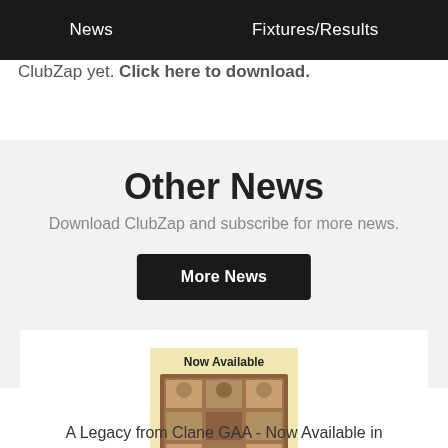News    Fixtures/Results
ClubZap yet. Click here to download.
Other News
Download ClubZap and subscribe for more news.
More News
[Figure (other): Book cover image with text 'Now Available' at top and 'Purchase Online or from the Bar' at bottom, on a cream/yellow background with photo collage in the middle]
A Legacy from Clane GAA - Now Available in